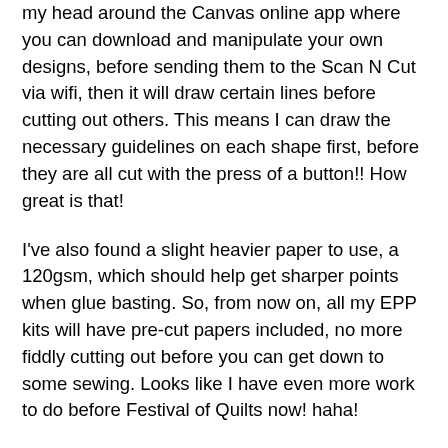my head around the Canvas online app where you can download and manipulate your own designs, before sending them to the Scan N Cut via wifi, then it will draw certain lines before cutting out others. This means I can draw the necessary guidelines on each shape first, before they are all cut with the press of a button!! How great is that!
I've also found a slight heavier paper to use, a 120gsm, which should help get sharper points when glue basting. So, from now on, all my EPP kits will have pre-cut papers included, no more fiddly cutting out before you can get down to some sewing. Looks like I have even more work to do before Festival of Quilts now! haha!
In other news... I have now uploaded this new Overlapping Circles Cushion into the Sewmotion shop - this version is made in Edyta Sitar's lovely Blue Sky fabrics, and looks so soft and pretty against